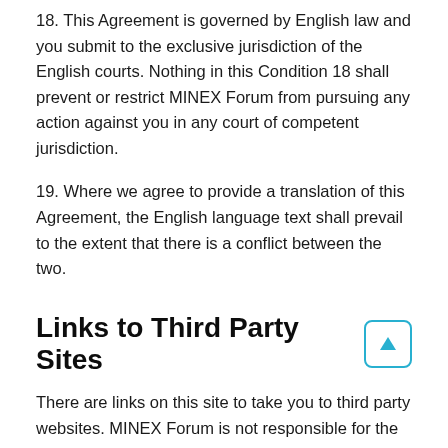18. This Agreement is governed by English law and you submit to the exclusive jurisdiction of the English courts. Nothing in this Condition 18 shall prevent or restrict MINEX Forum from pursuing any action against you in any court of competent jurisdiction.
19. Where we agree to provide a translation of this Agreement, the English language text shall prevail to the extent that there is a conflict between the two.
Links to Third Party Sites
There are links on this site to take you to third party websites. MINEX Forum is not responsible for the contents